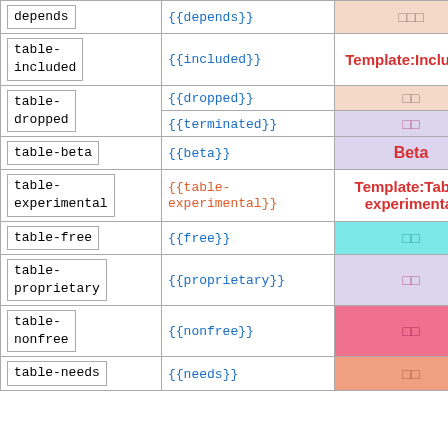| Template name | Wikitext | Result |
| --- | --- | --- |
| depends | {{depends}} | □□□ |
| table-included | {{included}} | Template:Included |
| table-dropped | {{dropped}} | □□ |
| table-dropped | {{terminated}} | □□ |
| table-beta | {{beta}} | Beta |
| table-experimental | {{table-experimental}} | Template:Table-experimental |
| table-free | {{free}} | □□ |
| table-proprietary | {{proprietary}} | □□ |
| table-nonfree | {{nonfree}} | □□ |
| table-needs | {{needs}} | □□ |